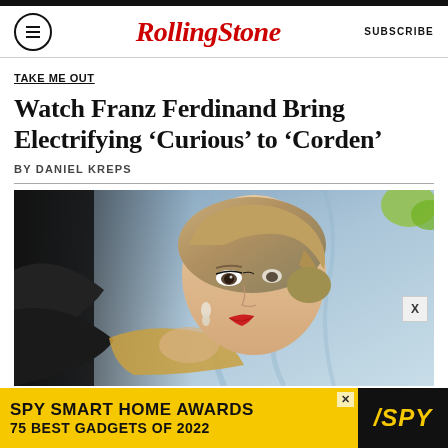RollingStone | SUBSCRIBE
TAKE ME OUT
Watch Franz Ferdinand Bring Electrifying ‘Curious’ to ‘Corden’
BY DANIEL KREPS
[Figure (photo): A blonde woman in a gold sequined dress, photographed in front of a light blue draped background, looking over her shoulder. Red lips, chandelier earring visible.]
[Figure (infographic): Advertisement banner: SPY SMART HOME AWARDS / 75 BEST GADGETS OF 2022 with SPY logo in yellow and black.]